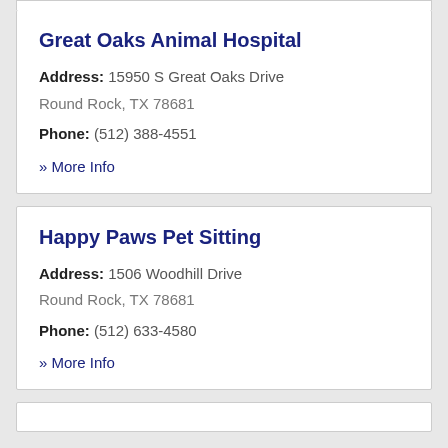Great Oaks Animal Hospital
Address: 15950 S Great Oaks Drive Round Rock, TX 78681
Phone: (512) 388-4551
» More Info
Happy Paws Pet Sitting
Address: 1506 Woodhill Drive Round Rock, TX 78681
Phone: (512) 633-4580
» More Info